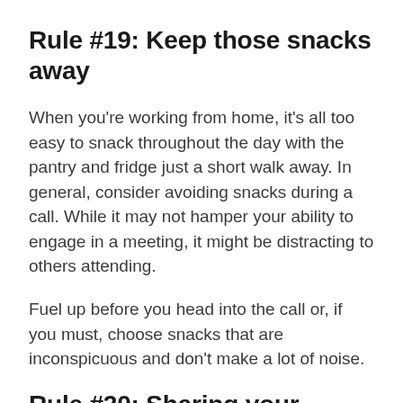Rule #19: Keep those snacks away
When you're working from home, it's all too easy to snack throughout the day with the pantry and fridge just a short walk away. In general, consider avoiding snacks during a call. While it may not hamper your ability to engage in a meeting, it might be distracting to others attending.
Fuel up before you head into the call or, if you must, choose snacks that are inconspicuous and don't make a lot of noise.
Rule #20: Sharing your screen?